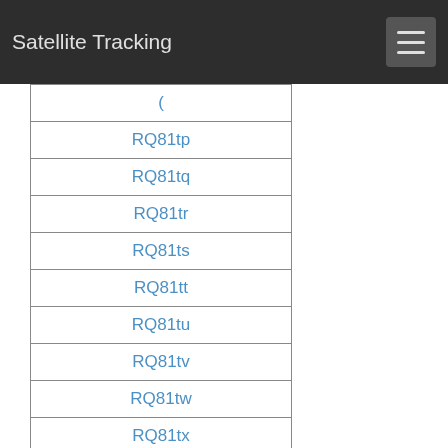Satellite Tracking
RQ81tp
RQ81tq
RQ81tr
RQ81ts
RQ81tt
RQ81tu
RQ81tv
RQ81tw
RQ81tx
RQ81ua
RQ81ub
RQ81uc
RQ81ud
RQ81ue
RQ81uf
RQ81ug
RQ81uh